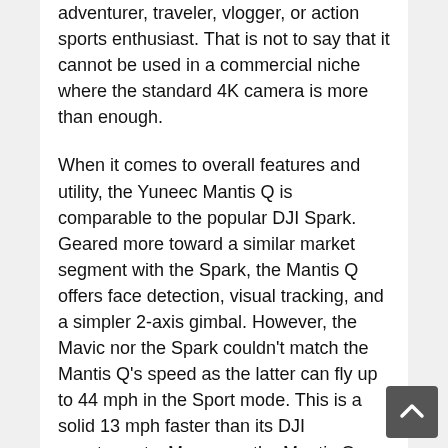the Mantis Q is geared more toward the adventurer, traveler, vlogger, or action sports enthusiast. That is not to say that it cannot be used in a commercial niche where the standard 4K camera is more than enough.
When it comes to overall features and utility, the Yuneec Mantis Q is comparable to the popular DJI Spark. Geared more toward a similar market segment with the Spark, the Mantis Q offers face detection, visual tracking, and a simpler 2-axis gimbal. However, the Mavic nor the Spark couldn’t match the Mantis Q’s speed as the latter can fly up to 44 mph in the Sport mode. This is a solid 13 mph faster than its DJI counterparts. Moreover, the Mantis Q boasts a flight time of 33 minutes.